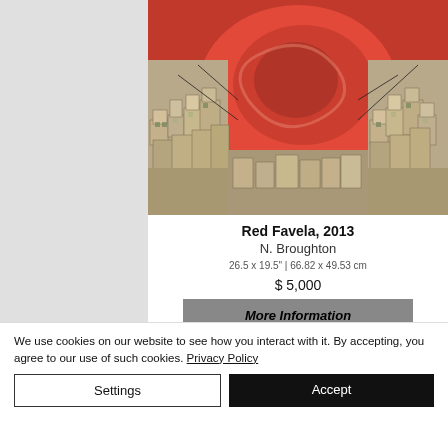[Figure (illustration): Painting titled 'Red Favela, 2013' by N. Broughton. Shows densely packed colorful buildings on hillsides with a large swirling red shape in the center/sky.]
Red Favela, 2013
N. Broughton
26.5 x 19.5" | 66.82 x 49.53 cm
$ 5,000
More Information
We use cookies on our website to see how you interact with it. By accepting, you agree to our use of such cookies. Privacy Policy
Settings
Accept